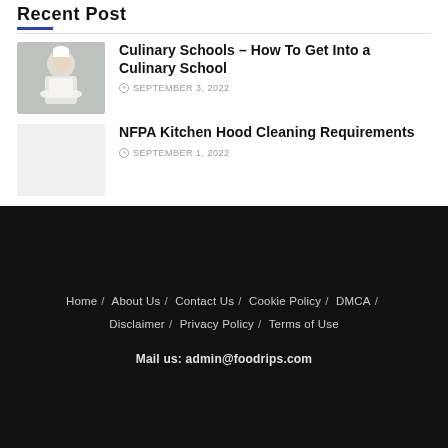Recent Post
[Figure (photo): Culinary school thumbnail image showing chef in white uniform]
Culinary Schools – How To Get Into a Culinary School
SEPTEMBER 3, 2022
[Figure (photo): Blank/placeholder thumbnail for NFPA Kitchen Hood Cleaning Requirements post]
NFPA Kitchen Hood Cleaning Requirements
SEPTEMBER 1, 2022
Home / About Us / Contact Us / Cookie Policy / DMCA / Disclaimer / Privacy Policy / Terms of Use
Mail us: admin@foodrips.com